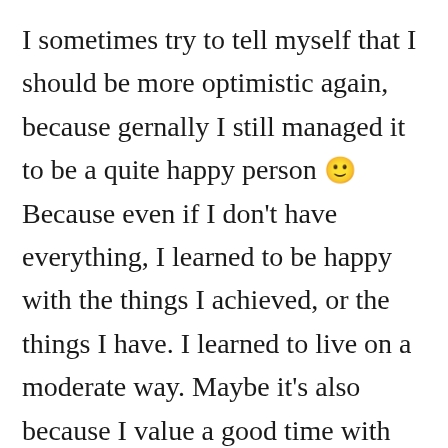I sometimes try to tell myself that I should be more optimistic again, because gernally I still managed it to be a quite happy person 🙂 Because even if I don't have everything, I learned to be happy with the things I achieved, or the things I have. I learned to live on a moderate way. Maybe it's also because I value a good time with myself, with my family, and friends a lot more than materialism. Hobbies help too, you just need to know what to do with your time. And you know, if you get home and your pets, in my case my cat makes big eyes... it instantly makes you happy too 🙂 It's just that I